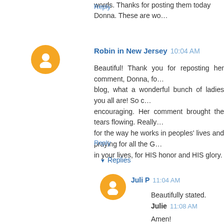words. Thanks for posting them today Donna. These are wo…
Reply
Robin in New Jersey  10:04 AM
Beautiful! Thank you for reposting her comment, Donna, fo… blog, what a wonderful bunch of ladies you all are! So c… encouraging. Her comment brought the tears flowing. Really… for the way he works in peoples' lives and praying for all the G… in your lives, for HIS honor and HIS glory.
Reply
▼ Replies
Juli P  11:04 AM
Beautifully stated.
Julie  11:08 AM
Amen!